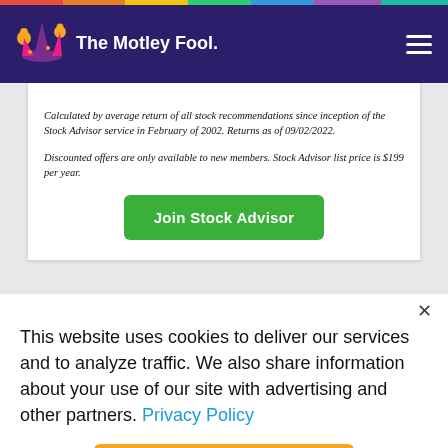The Motley Fool
Calculated by average return of all stock recommendations since inception of the Stock Advisor service in February of 2002. Returns as of 09/02/2022.
Discounted offers are only available to new members. Stock Advisor list price is $199 per year.
Join Stock Advisor
This website uses cookies to deliver our services and to analyze traffic. We also share information about your use of our site with advertising and other partners. Privacy Policy
Got it
Cookie Settings